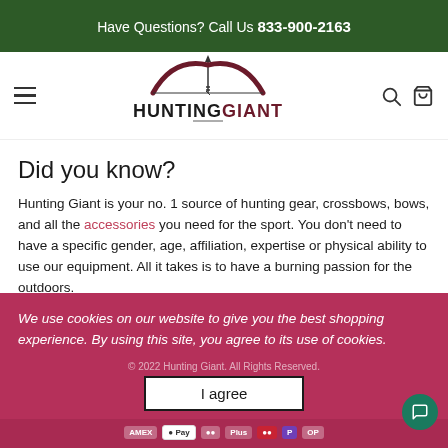Have Questions? Call Us 833-900-2163
[Figure (logo): HuntingGiant logo with bow and arrow graphic above the text HUNTINGGIANT]
Did you know?
Hunting Giant is your no. 1 source of hunting gear, crossbows, bows, and all the accessories you need for the sport. You don't need to have a specific gender, age, affiliation, expertise or physical ability to use our equipment. All it takes is to have a burning passion for the outdoors.
We use cookies on our website to give you the best shopping experience. By using this site, you agree to its use of cookies.
© 2022 Hunting Giant. All Rights Reserved.